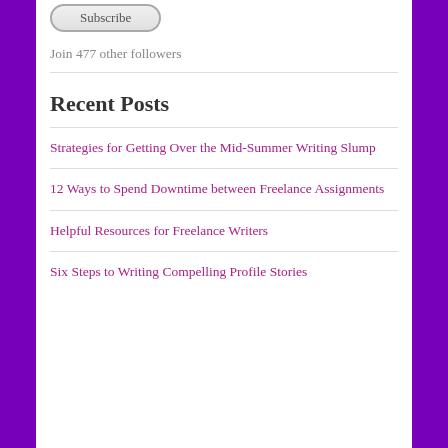[Figure (other): Subscribe button with rounded rectangle border]
Join 477 other followers
Recent Posts
Strategies for Getting Over the Mid-Summer Writing Slump
12 Ways to Spend Downtime between Freelance Assignments
Helpful Resources for Freelance Writers
Six Steps to Writing Compelling Profile Stories